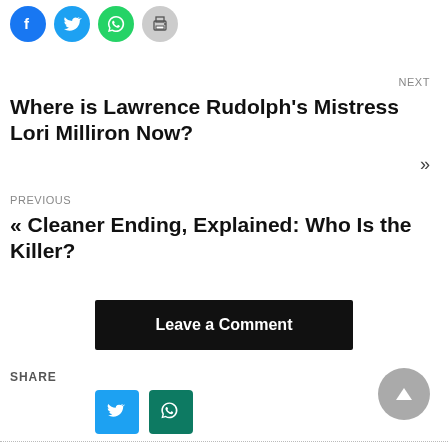[Figure (other): Social share icons row: Facebook (blue circle), Twitter (light blue circle), WhatsApp (green circle), Print (grey circle)]
NEXT
Where is Lawrence Rudolph's Mistress Lori Milliron Now?
»
PREVIOUS
« Cleaner Ending, Explained: Who Is the Killer?
Leave a Comment
SHARE
[Figure (other): Share icons: Twitter (blue square) and WhatsApp (dark green square)]
[Figure (other): Scroll-to-top button: grey circle with upward triangle arrow]